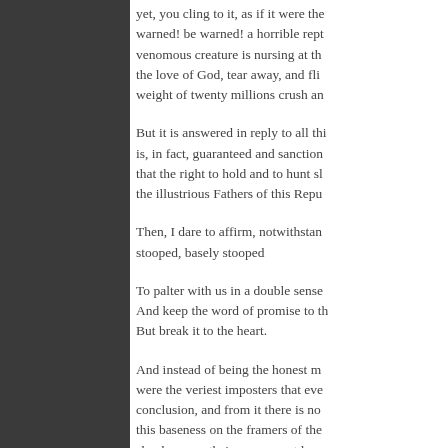yet, you cling to it, as if it were the warned! be warned! a horrible rept venomous creature is nursing at th the love of God, tear away, and fli weight of twenty millions crush an
But it is answered in reply to all thi is, in fact, guaranteed and sanction that the right to hold and to hunt sl the illustrious Fathers of this Repu
Then, I dare to affirm, notwithstan stooped, basely stooped
To palter with us in a double sense And keep the word of promise to th But break it to the heart.
And instead of being the honest m were the veriest imposters that eve conclusion, and from it there is no this baseness on the framers of the slander upon their memory, at leas the constitutional question at lengt ought to be discussed. The subjec